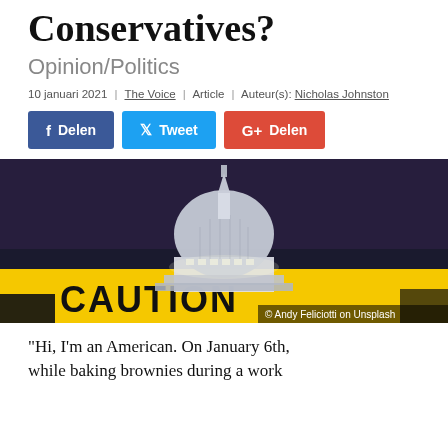Conservatives?
Opinion/Politics
10 januari 2021 | The Voice | Article | Auteur(s): Nicholas Johnston
[Figure (other): Photo of the US Capitol building dome at night with a yellow CAUTION tape in the foreground. Credit: © Andy Feliciotti on Unsplash]
"Hi, I'm an American. On January 6th, while baking brownies during a work